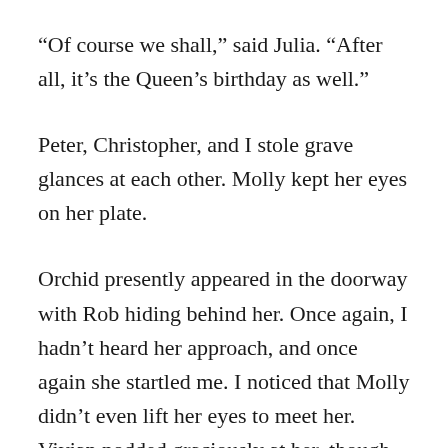“Of course we shall,” said Julia. “After all, it’s the Queen’s birthday as well.”
Peter, Christopher, and I stole grave glances at each other. Molly kept her eyes on her plate.
Orchid presently appeared in the doorway with Rob hiding behind her. Once again, I hadn’t heard her approach, and once again she startled me. I noticed that Molly didn’t even lift her eyes to meet her. Vivian nodded graciously at her, though. Peter’s face turned even brighter than his hair, which was auburn as my own.